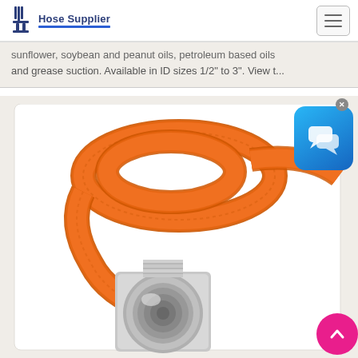Hose Supplier
sunflower, soybean and peanut oils, petroleum based oils and grease suction. Available in ID sizes 1/2" to 3". View t...
[Figure (photo): Orange braided industrial hose with a silver metal threaded coupling/fitting on the end, coiled on a white background.]